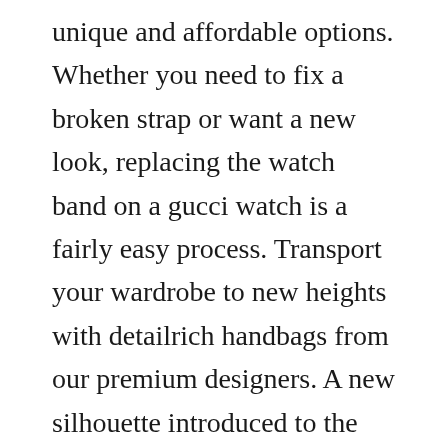unique and affordable options. Whether you need to fix a broken strap or want a new look, replacing the watch band on a gucci watch is a fairly easy process. Transport your wardrobe to new heights with detailrich handbags from our premium designers. A new silhouette introduced to the gucci 1955 horsebit line for spring summer 2020, the top handle has a domed shape with an optional leather shoulder strap, crafted from blue leather with a polka pattern interjected with the double g motif. Sears has a beautiful selection of womens watches to enhance your look